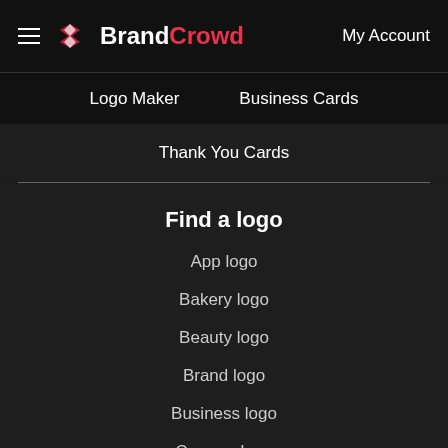BrandCrowd — My Account
Logo Maker   Business Cards
Thank You Cards
Find a logo
App logo
Bakery logo
Beauty logo
Brand logo
Business logo
Camera logo
Coffee logo